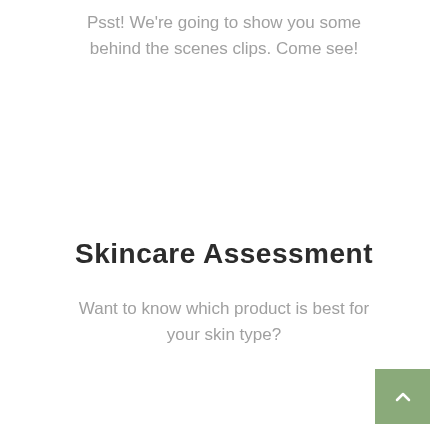Psst! We're going to show you some behind the scenes clips. Come see!
Skincare Assessment
Want to know which product is best for your skin type?